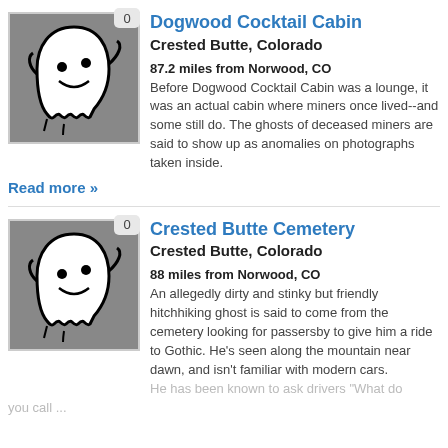[Figure (illustration): Ghost cartoon illustration on gray background with badge showing 0]
Dogwood Cocktail Cabin
Crested Butte, Colorado
87.2 miles from Norwood, CO
Before Dogwood Cocktail Cabin was a lounge, it was an actual cabin where miners once lived--and some still do. The ghosts of deceased miners are said to show up as anomalies on photographs taken inside.
Read more »
[Figure (illustration): Ghost cartoon illustration on gray background with badge showing 0]
Crested Butte Cemetery
Crested Butte, Colorado
88 miles from Norwood, CO
An allegedly dirty and stinky but friendly hitchhiking ghost is said to come from the cemetery looking for passersby to give him a ride to Gothic. He's seen along the mountain near dawn, and isn't familiar with modern cars. He has been known to ask drivers "What do you call ..."